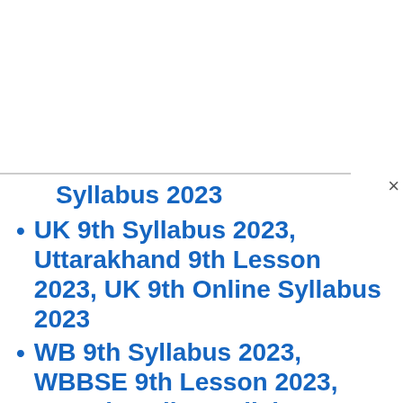Syllabus 2023
UK 9th Syllabus 2023, Uttarakhand 9th Lesson 2023, UK 9th Online Syllabus 2023
WB 9th Syllabus 2023, WBBSE 9th Lesson 2023, WB 9th Online Syllabus 2023
AP 9th Syllabus 2023, Manabadi 9th Lesson 2023, AP 9th Online